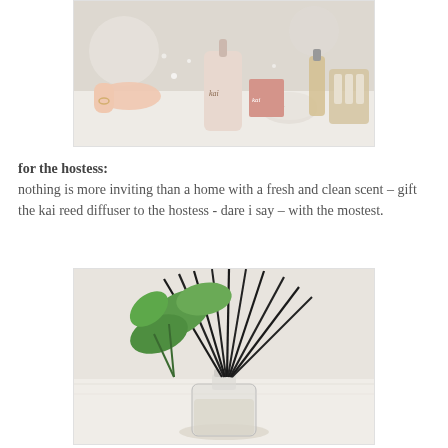[Figure (photo): Kai branded beauty and skincare products arranged on a white surface, including a lotion bottle, a compact, a perfume bottle, and a travel kit with mini bottles. A hand touches one of the items.]
for the hostess: nothing is more inviting than a home with a fresh and clean scent – gift the kai reed diffuser to the hostess - dare i say – with the mostest.
[Figure (photo): A kai reed diffuser in a clear glass bottle with multiple black reed sticks fanning out, placed near a green plant on a white textured surface.]